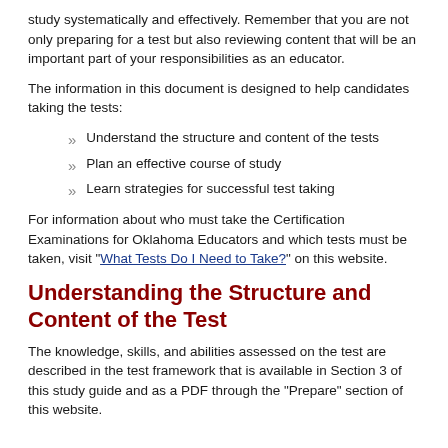study systematically and effectively. Remember that you are not only preparing for a test but also reviewing content that will be an important part of your responsibilities as an educator.
The information in this document is designed to help candidates taking the tests:
Understand the structure and content of the tests
Plan an effective course of study
Learn strategies for successful test taking
For information about who must take the Certification Examinations for Oklahoma Educators and which tests must be taken, visit "What Tests Do I Need to Take?" on this website.
Understanding the Structure and Content of the Test
The knowledge, skills, and abilities assessed on the test are described in the test framework that is available in Section 3 of this study guide and as a PDF through the "Prepare" section of this website.